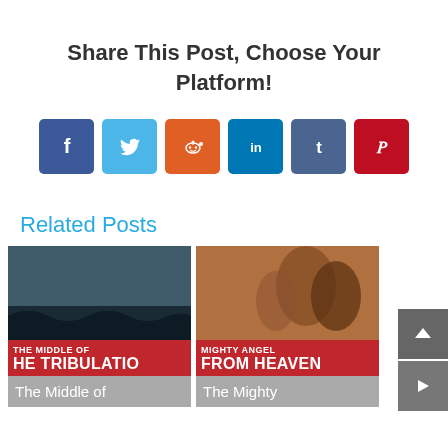Share This Post, Choose Your Platform!
[Figure (infographic): Social media share buttons: Facebook (blue), Twitter (light blue), Reddit (orange), LinkedIn (dark blue), Tumblr (slate blue), Pinterest (red)]
Related Posts
[Figure (photo): THE MIDDLE OF THE TRIBULATION - book/post thumbnail with dark stormy sea background and red banner text]
[Figure (photo): MIGHTY ANGEL FROM HEAVEN - book/post thumbnail with angel background and red banner text]
The Middle of
The Mighty